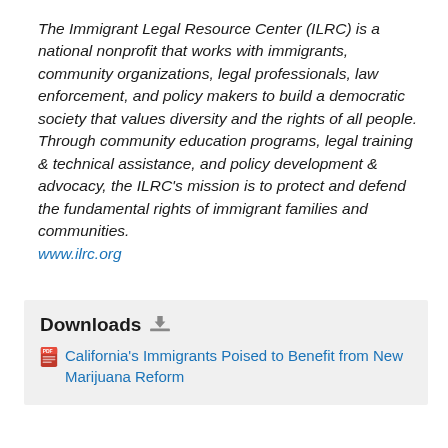The Immigrant Legal Resource Center (ILRC) is a national nonprofit that works with immigrants, community organizations, legal professionals, law enforcement, and policy makers to build a democratic society that values diversity and the rights of all people. Through community education programs, legal training & technical assistance, and policy development & advocacy, the ILRC's mission is to protect and defend the fundamental rights of immigrant families and communities. www.ilrc.org
Downloads
California's Immigrants Poised to Benefit from New Marijuana Reform